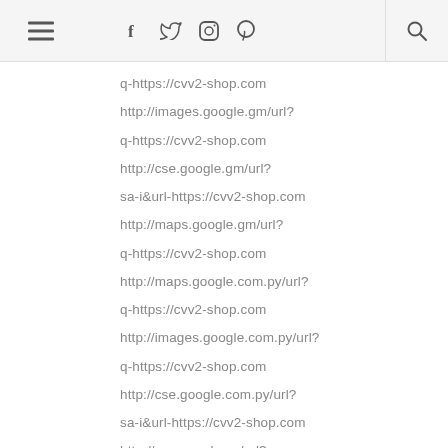☰ f t instagram pinterest 🔍
q-https://cvv2-shop.com
http://images.google.gm/url?
q-https://cvv2-shop.com
http://cse.google.gm/url?
sa-i&url-https://cvv2-shop.com
http://maps.google.gm/url?
q-https://cvv2-shop.com
http://maps.google.com.py/url?
q-https://cvv2-shop.com
http://images.google.com.py/url?
q-https://cvv2-shop.com
http://cse.google.com.py/url?
sa-i&url-https://cvv2-shop.com
http://cse.google.sn/url?